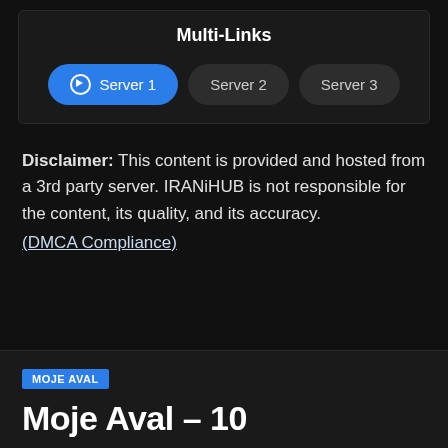Multi-Links
[Figure (screenshot): Three server selection buttons: Server 1 (active, blue with play icon), Server 2 (inactive, dark), Server 3 (inactive, dark)]
Disclaimer: This content is provided and hosted from a 3rd party server. IRANiHUB is not responsible for the content, its quality, and its accuracy. (DMCA Compliance)
MOJE AVAL
Moje Aval – 10